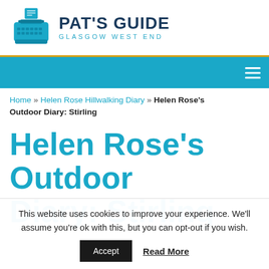[Figure (logo): Pat's Guide Glasgow West End logo with typewriter icon and text]
[Figure (other): Navigation bar with hamburger menu icon on teal/cyan background]
Home » Helen Rose Hillwalking Diary » Helen Rose's Outdoor Diary: Stirling
Helen Rose's Outdoor Diary: Stirling
This website uses cookies to improve your experience. We'll assume you're ok with this, but you can opt-out if you wish.
Accept   Read More